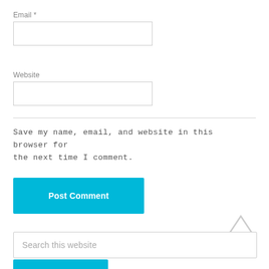Email *
Website
Save my name, email, and website in this browser for the next time I comment.
Post Comment
Search this website
Search